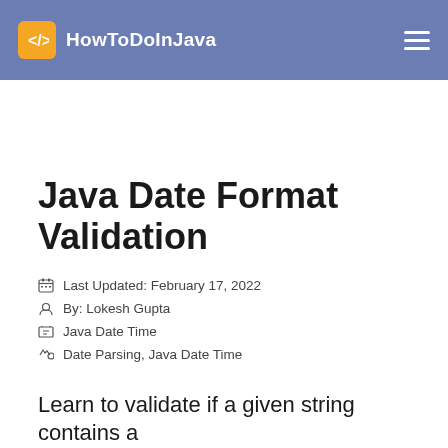HowToDoInJava
Java Date Format Validation
Last Updated: February 17, 2022
By: Lokesh Gupta
Java Date Time
Date Parsing, Java Date Time
Learn to validate if a given string contains a